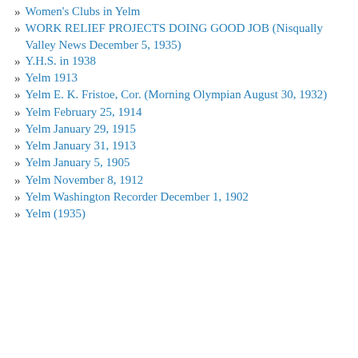Women's Clubs in Yelm
WORK RELIEF PROJECTS DOING GOOD JOB (Nisqually Valley News December 5, 1935)
Y.H.S. in 1938
Yelm 1913
Yelm E. K. Fristoe, Cor. (Morning Olympian August 30, 1932)
Yelm February 25, 1914
Yelm January 29, 1915
Yelm January 31, 1913
Yelm January 5, 1905
Yelm November 8, 1912
Yelm Washington Recorder December 1, 1902
Yelm (1935)